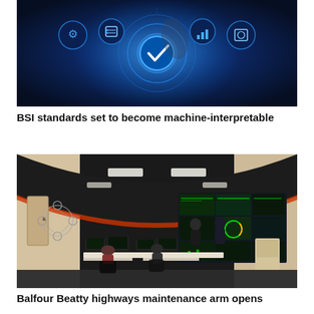[Figure (photo): Technology concept image with glowing blue digital interface icons including a checkmark, quality management symbols, and a hand pointing, on a dark blue background]
BSI standards set to become machine-interpretable
[Figure (photo): Modern highway maintenance control room with multiple monitor workstations, large video wall displaying maps and dashboards, and several people working, featuring a distinctive curved ceiling design]
Balfour Beatty highways maintenance arm opens